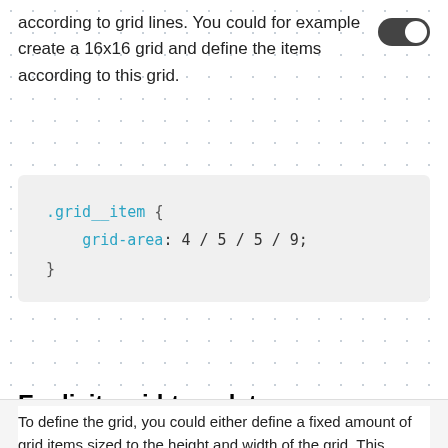according to grid lines. You could for example create a 16x16 grid and define the items according to this grid.
.grid__item {
    grid-area: 4 / 5 / 5 / 9;
}
Explicit: grid-template-rows/columns
To define the grid, you could either define a fixed amount of grid items sized to the height and width of the grid. This means you will always have 16 rows and columns sized according to the dimensions of your container.